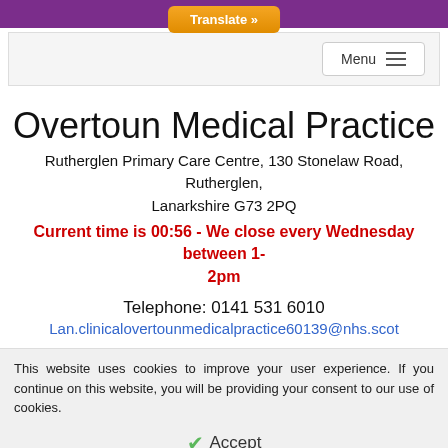Translate »
Menu
Overtoun Medical Practice
Rutherglen Primary Care Centre, 130 Stonelaw Road, Rutherglen, Lanarkshire G73 2PQ
Current time is 00:56 - We close every Wednesday between 1-2pm
Telephone: 0141 531 6010
Lan.clinicalovertounmedicalpractice60139@nhs.scot
This website uses cookies to improve your user experience. If you continue on this website, you will be providing your consent to our use of cookies.
Accept